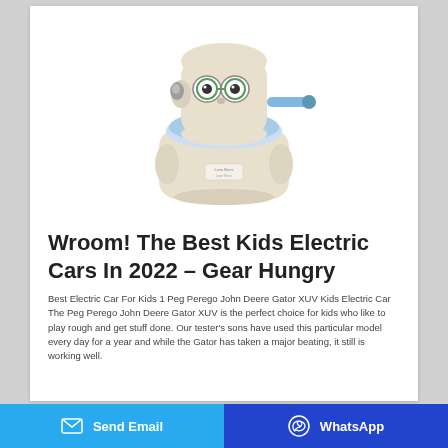[Figure (photo): A children's potty training seat in cream/beige plastic with a blue seat, cartoon face with green glasses eyes on the backrest, a handle bar on the right side, and a small label on the front. The potty has a character-like design resembling a small chair or car.]
Wroom! The Best Kids Electric Cars In 2022 – Gear Hungry
Best Electric Car For Kids 1 Peg Perego John Deere Gator XUV Kids Electric Car The Peg Perego John Deere Gator XUV is the perfect choice for kids who like to play rough and get stuff done. Our tester's sons have used this particular model every day for a year and while the Gator has taken a major beating, it still is working well.
Send Email | WhatsApp